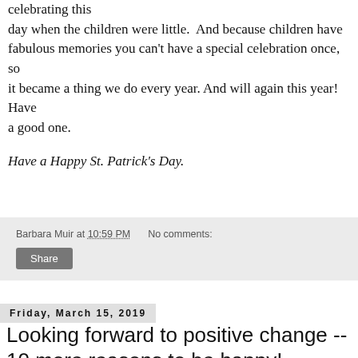celebrating this day when the children were little. And because children have fabulous memories you can't have a special celebration once, so it became a thing we do every year. And will again this year! Have a good one.

Have a Happy St. Patrick's Day.
Barbara Muir at 10:59 PM   No comments:
Share
Friday, March 15, 2019
Looking forward to positive change -- 10 more reasons to be happy!